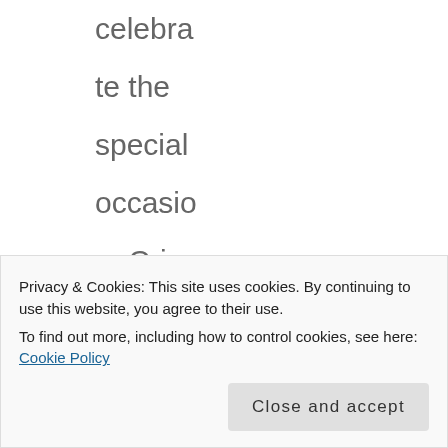celebrate the special occasion. Crisp Cantaloupe and Calypso Coral are so swe
Privacy & Cookies: This site uses cookies. By continuing to use this website, you agree to their use.
To find out more, including how to control cookies, see here: Cookie Policy
Close and accept